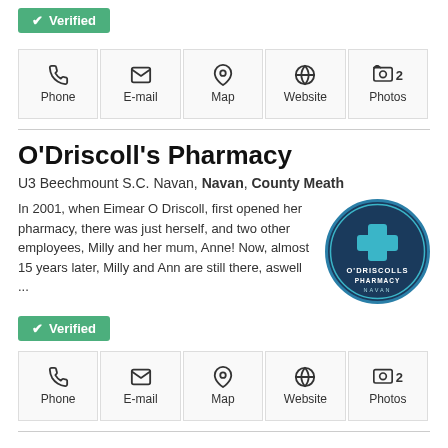[Figure (other): Green Verified button at top of page]
[Figure (other): Action bar with Phone, E-mail, Map, Website, 2 Photos icons]
O'Driscoll's Pharmacy
U3 Beechmount S.C. Navan, Navan, County Meath
In 2001, when Eimear O Driscoll, first opened her pharmacy, there was just herself, and two other employees, Milly and her mum, Anne! Now, almost 15 years later, Milly and Ann are still there, aswell ...
[Figure (logo): O'Driscolls Pharmacy Navan circular logo - dark blue/teal circle with cross symbol]
[Figure (other): Green Verified button]
[Figure (other): Action bar with Phone, E-mail, Map, Website, 2 Photos icons]
P Byrne Decor